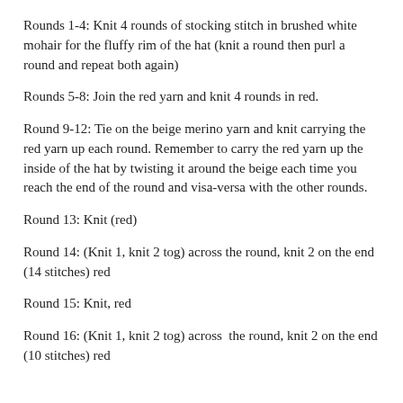Rounds 1-4: Knit 4 rounds of stocking stitch in brushed white mohair for the fluffy rim of the hat (knit a round then purl a round and repeat both again)
Rounds 5-8: Join the red yarn and knit 4 rounds in red.
Round 9-12: Tie on the beige merino yarn and knit carrying the red yarn up each round. Remember to carry the red yarn up the inside of the hat by twisting it around the beige each time you reach the end of the round and visa-versa with the other rounds.
Round 13: Knit (red)
Round 14: (Knit 1, knit 2 tog) across the round, knit 2 on the end (14 stitches) red
Round 15: Knit, red
Round 16: (Knit 1, knit 2 tog) across  the round, knit 2 on the end (10 stitches) red